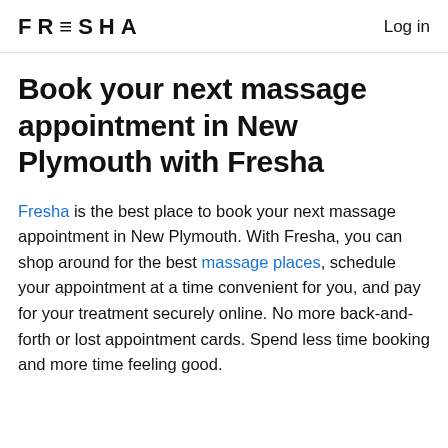FRESHA   Log in
Book your next massage appointment in New Plymouth with Fresha
Fresha is the best place to book your next massage appointment in New Plymouth. With Fresha, you can shop around for the best massage places, schedule your appointment at a time convenient for you, and pay for your treatment securely online. No more back-and-forth or lost appointment cards. Spend less time booking and more time feeling good.